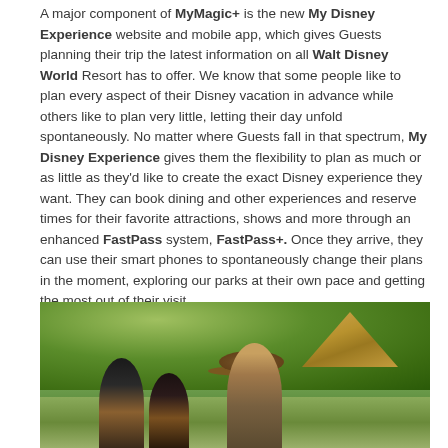A major component of MyMagic+ is the new My Disney Experience website and mobile app, which gives Guests planning their trip the latest information on all Walt Disney World Resort has to offer. We know that some people like to plan every aspect of their Disney vacation in advance while others like to plan very little, letting their day unfold spontaneously. No matter where Guests fall in that spectrum, My Disney Experience gives them the flexibility to plan as much or as little as they'd like to create the exact Disney experience they want. They can book dining and other experiences and reserve times for their favorite attractions, shows and more through an enhanced FastPass system, FastPass+. Once they arrive, they can use their smart phones to spontaneously change their plans in the moment, exploring our parks at their own pace and getting the most out of their visit.
[Figure (photo): Outdoor photo showing a Disney cast member in khaki uniform and wide-brimmed hat speaking with guests, with lush green foliage and a thatched-roof structure in the background, suggesting an African-themed area of an animal park.]